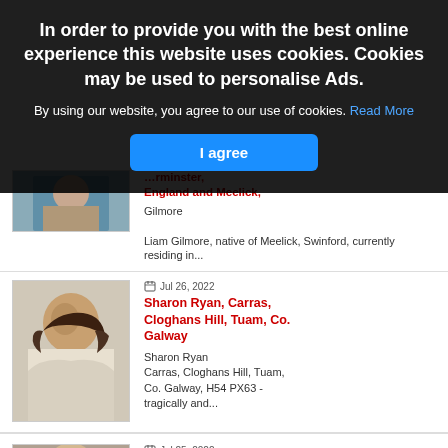[Figure (photo): Partial view of a person, background article image (top, partially obscured)]
England and Meelick,
Gilmore
Liam Gilmore, native of Meelick, Swinford, currently residing in...
[Figure (photo): Portrait photo of Sharon Ryan, a woman with dark hair wearing a white top]
Jul 26, 2022
Sharon Ryan, Carras, Cloghans Hill, Tuam, Co. Galway
Sharon Ryan
Carras, Cloghans Hill, Tuam, Co. Galway, H54 PX63 - tragically and...
[Figure (photo): Partial portrait photo of a person with blonde hair, bottom article]
Jul 25, 2022
Anne Kivlichan, Ballure,
In order to provide you with the best online experience this website uses cookies. Cookies may be used to personalise Ads.
By using our website, you agree to our use of cookies. Read More
I agree